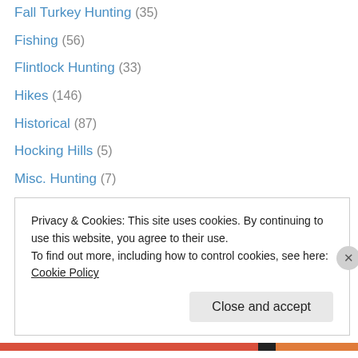Fall Turkey Hunting (35)
Fishing (56)
Flintlock Hunting (33)
Hikes (146)
Historical (87)
Hocking Hills (5)
Misc. Hunting (7)
Misc. Nature (280)
Music (25)
Muskie Fishing (8)
My Art (75)
My Family (96)
My Landscaping (2)
Privacy & Cookies: This site uses cookies. By continuing to use this website, you agree to their use. To find out more, including how to control cookies, see here: Cookie Policy
Close and accept